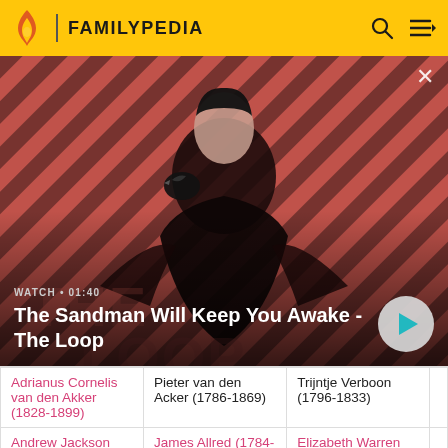FAMILYPEDIA
[Figure (screenshot): Promotional video thumbnail for 'The Sandman Will Keep You Awake - The Loop' showing a dark figure with a bird on a red and black striped background. Overlaid text: WATCH • 01:40, The Sandman Will Keep You Awake - The Loop. Play button visible bottom right. Close (X) button top right.]
| Adrianus Cornelis van den Akker (1828-1899) | Pieter van den Acker (1786-1869) | Trijntje Verboon (1796-1833) |  |
| Andrew Jackson | James Allred (1784-1876) | Elizabeth Warren (1786- |  |